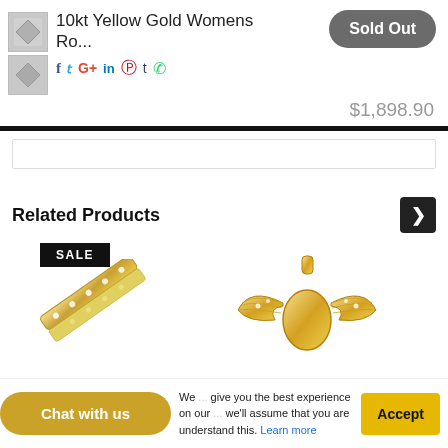10kt Yellow Gold Womens Ro...
f  t  G+  in  p  t  (whatsapp icon)
Sold Out
$1,898.90
Related Products
[Figure (photo): SALE badge with bracelet product image]
[Figure (photo): Gold angel wings pendant product image]
Chat with us
We ... give you the best experience on our ... we'll assume that you are understand this. Learn more
Accept